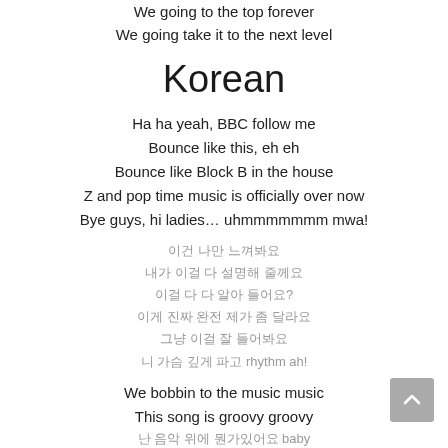We going to the top forever
We going take it to the next level
Korean
Ha ha yeah, BBC follow me
Bounce like this, eh eh
Bounce like Block B in the house
Z and pop time music is officially over now
Bye guys, hi ladies… uhmmmmmmm mwa!
이건 나만 느껴봐요
내가 이걸 다 설명해 줄께요
이걸 다 다 알아 들어요?
이게 진짜 완전 제가 좀 달라요
그냥 이걸 잘 들어봐요
니 가슴 깊게 파고 rhythm ah!
We bobbin to the music music
This song is groovy groovy
난 음악 위에 뭔가있어요 baby